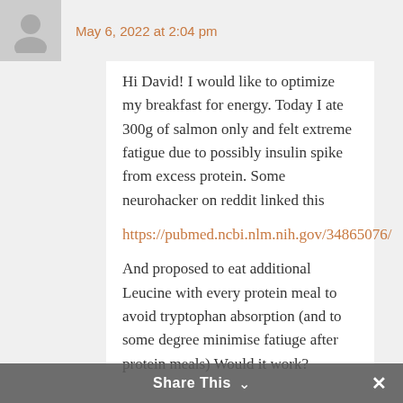May 6, 2022 at 2:04 pm
Hi David! I would like to optimize my breakfast for energy. Today I ate 300g of salmon only and felt extreme fatigue due to possibly insulin spike from excess protein. Some neurohacker on reddit linked this
https://pubmed.ncbi.nlm.nih.gov/34865076/
And proposed to eat additional Leucine with every protein meal to avoid tryptophan absorption (and to some degree minimise fatiuge after protein meals) Would it work?
Share This ∨  ✕